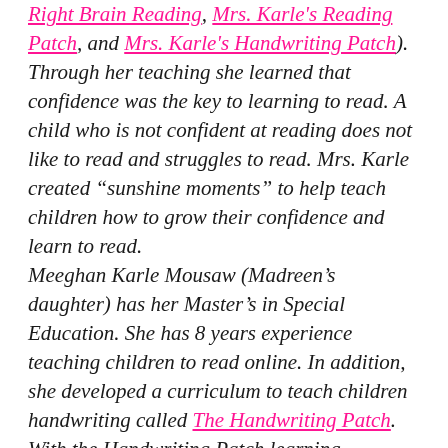Right Brain Reading, Mrs. Karle's Reading Patch, and Mrs. Karle's Handwriting Patch). Through her teaching she learned that confidence was the key to learning to read. A child who is not confident at reading does not like to read and struggles to read. Mrs. Karle created “sunshine moments” to help teach children how to grow their confidence and learn to read. Meeghan Karle Mousaw (Madreen’s daughter) has her Master’s in Special Education. She has 8 years experience teaching children to read online. In addition, she developed a curriculum to teach children handwriting called The Handwriting Patch. With the Handwriting Patch learning